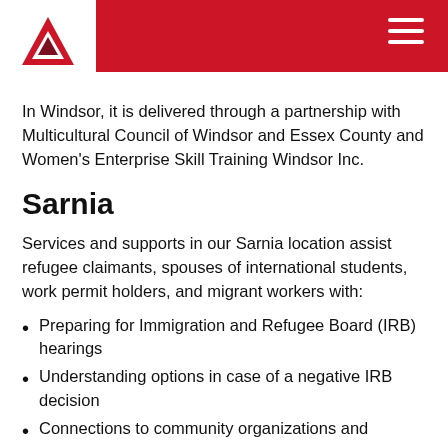[Figure (logo): YMCA logo with red Y triangle symbol on white background in top-left corner]
In Windsor, it is delivered through a partnership with Multicultural Council of Windsor and Essex County and Women's Enterprise Skill Training Windsor Inc.
Sarnia
Services and supports in our Sarnia location assist refugee claimants, spouses of international students, work permit holders, and migrant workers with:
Preparing for Immigration and Refugee Board (IRB) hearings
Understanding options in case of a negative IRB decision
Connections to community organizations and resources